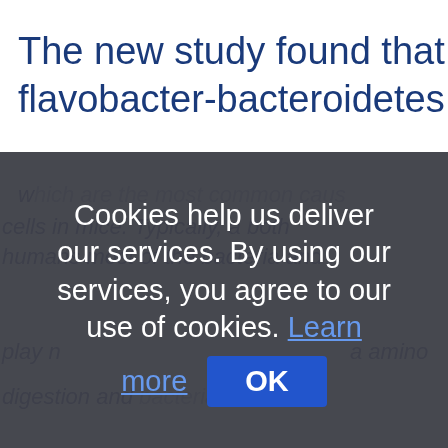The new study found that cytoph flavobacter-bacteroidetes (CFB)
...cells in mice. Typically, a both humans most of the bacteria play in... digestion and...
[Figure (screenshot): Cookie consent overlay dialog with text: 'Cookies help us deliver our services. By using our services, you agree to our use of cookies. Learn more' and an OK button.]